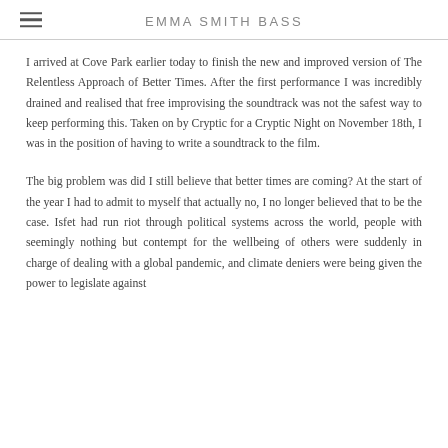EMMA SMITH BASS
I arrived at Cove Park earlier today to finish the new and improved version of The Relentless Approach of Better Times. After the first performance I was incredibly drained and realised that free improvising the soundtrack was not the safest way to keep performing this. Taken on by Cryptic for a Cryptic Night on November 18th, I was in the position of having to write a soundtrack to the film.
The big problem was did I still believe that better times are coming? At the start of the year I had to admit to myself that actually no, I no longer believed that to be the case. Isfet had run riot through political systems across the world, people with seemingly nothing but contempt for the wellbeing of others were suddenly in charge of dealing with a global pandemic, and climate deniers were being given the power to legislate against